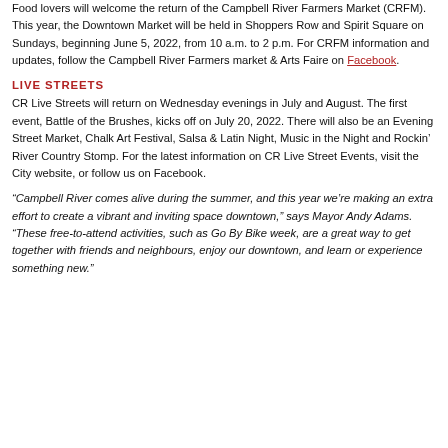Food lovers will welcome the return of the Campbell River Farmers Market (CRFM). This year, the Downtown Market will be held in Shoppers Row and Spirit Square on Sundays, beginning June 5, 2022, from 10 a.m. to 2 p.m. For CRFM information and updates, follow the Campbell River Farmers market & Arts Faire on Facebook.
LIVE STREETS
CR Live Streets will return on Wednesday evenings in July and August. The first event, Battle of the Brushes, kicks off on July 20, 2022. There will also be an Evening Street Market, Chalk Art Festival, Salsa & Latin Night, Music in the Night and Rockin' River Country Stomp. For the latest information on CR Live Street Events, visit the City website, or follow us on Facebook.
“Campbell River comes alive during the summer, and this year we’re making an extra effort to create a vibrant and inviting space downtown,” says Mayor Andy Adams. “These free-to-attend activities, such as Go By Bike week, are a great way to get together with friends and neighbours, enjoy our downtown, and learn or experience something new.”